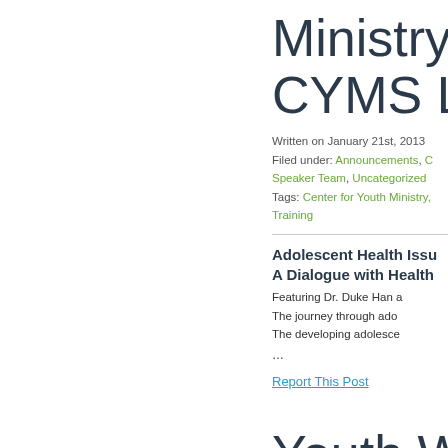Ministry Job CYMS Lec
Written on January 21st, 2013
Filed under: Announcements, Speaker Team, Uncategorized
Tags: Center for Youth Ministry, Training
Adolescent Health Issues: A Dialogue with Health
Featuring Dr. Duke Han a
The journey through ado
The developing adolesce
…
Report This Post
Youth Work
Written on December 12th, 20
Filed under: Announcements, Speaker Team, YM Network